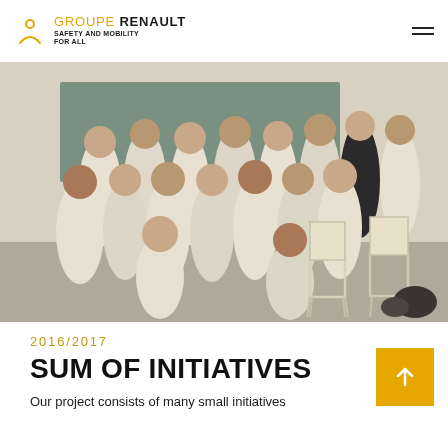GROUPE RENAULT SAFETY AND MOBILITY FOR ALL
[Figure (photo): Group photo of approximately 20 students/teenagers wearing white school uniforms with a logo, posing together in a classroom setting with chairs visible in the background.]
2016/2017
SUM OF INITIATIVES
Our project consists of many small initiatives